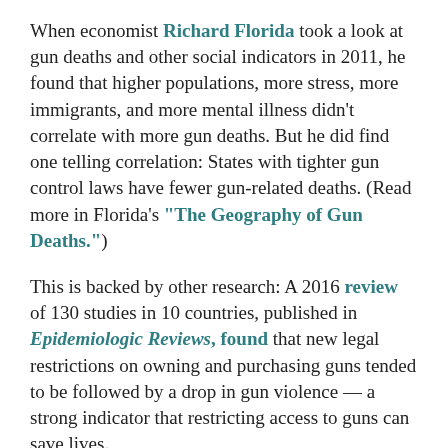When economist Richard Florida took a look at gun deaths and other social indicators in 2011, he found that higher populations, more stress, more immigrants, and more mental illness didn't correlate with more gun deaths. But he did find one telling correlation: States with tighter gun control laws have fewer gun-related deaths. (Read more in Florida's "The Geography of Gun Deaths.")
This is backed by other research: A 2016 review of 130 studies in 10 countries, published in Epidemiologic Reviews, found that new legal restrictions on owning and purchasing guns tended to be followed by a drop in gun violence — a strong indicator that restricting access to guns can save lives.
c) Still, gun suicide ("like all homicide") h...